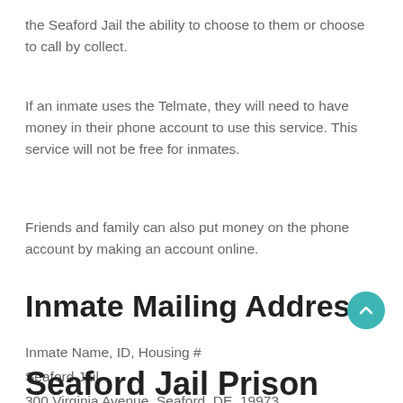the Seaford Jail the ability to choose to them or choose to call by collect.
If an inmate uses the Telmate, they will need to have money in their phone account to use this service. This service will not be free for inmates.
Friends and family can also put money on the phone account by making an account online.
Inmate Mailing Address
Inmate Name, ID, Housing #
Seaford Jail
300 Virginia Avenue, Seaford, DE, 19973
Seaford Jail Prison